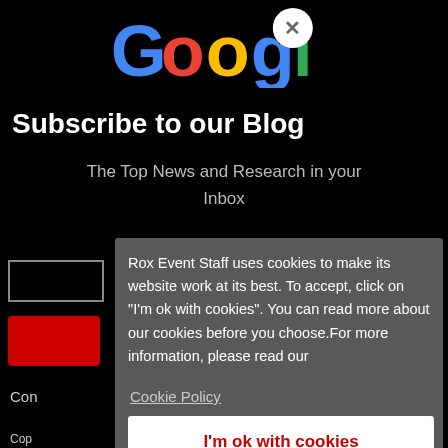[Figure (logo): Google logo with colorful letters on black background, with a circular close (X) button overlapping the right side]
Subscribe to our Blog
The Top News and Research in your Inbox
Rox Event Staff uses cookies to make its website work at its best. To accept, click on "I'm ok with cookies". You can read more about our cookies before you choose.For more information, please read our
Cookie Policy
I'm ok with cookies